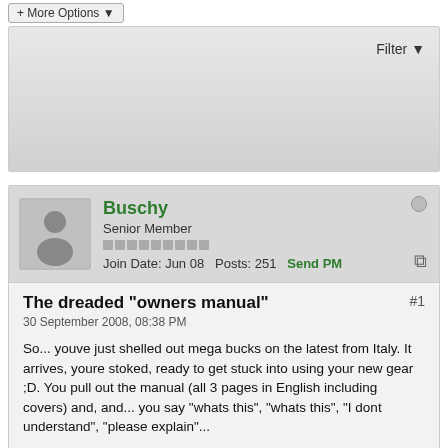+ More Options
Filter
[Figure (illustration): User avatar showing a generic grey silhouette of a person in a light grey box]
Buschy
Senior Member
Join Date: Jun 08  Posts: 251  Send PM
The dreaded "owners manual"
#1
30 September 2008, 08:38 PM
So... youve just shelled out mega bucks on the latest from Italy. It arrives, youre stoked, ready to get stuck into using your new gear ;D. You pull out the manual (all 3 pages in English including covers) and, and... you say "whats this", "whats this", "I dont understand", "please explain"...
Ive been to Italy and other parts of Europe a few times over the years (my family is primarily from Holland) and understand that there is a compromise involved if you want to enjoy a culture that is different than your own, one of the reasons you travel or purchase something from a country other than your own to begin with.